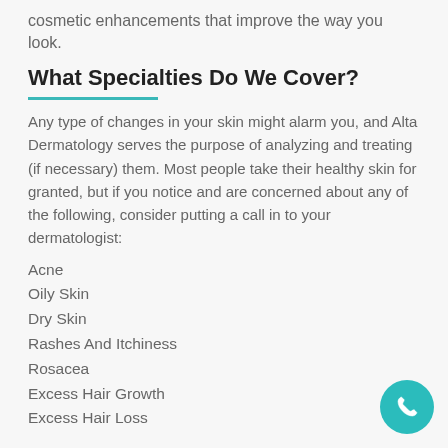cosmetic enhancements that improve the way you look.
What Specialties Do We Cover?
Any type of changes in your skin might alarm you, and Alta Dermatology serves the purpose of analyzing and treating (if necessary) them. Most people take their healthy skin for granted, but if you notice and are concerned about any of the following, consider putting a call in to your dermatologist:
Acne
Oily Skin
Dry Skin
Rashes And Itchiness
Rosacea
Excess Hair Growth
Excess Hair Loss